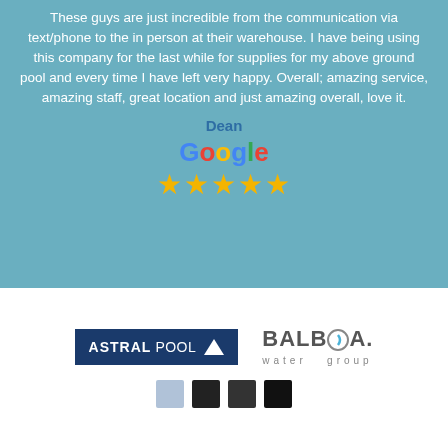These guys are just incredible from the communication via text/phone to the in person at their warehouse. I have being using this company for the last while for supplies for my above ground pool and every time I have left very happy. Overall; amazing service, amazing staff, great location and just amazing overall, love it.
Dean
[Figure (logo): Google logo with five gold star rating]
[Figure (logo): AstralPool logo (dark blue background with white text and triangle)]
[Figure (logo): Balboa Water Group logo in grey with colored dots below]